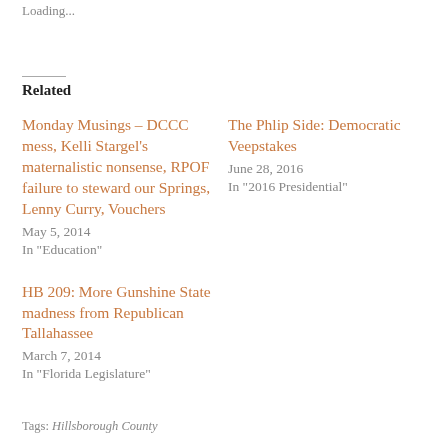Loading...
Related
Monday Musings – DCCC mess, Kelli Stargel's maternalistic nonsense, RPOF failure to steward our Springs, Lenny Curry, Vouchers
May 5, 2014
In "Education"
HB 209: More Gunshine State madness from Republican Tallahassee
March 7, 2014
In "Florida Legislature"
The Phlip Side: Democratic Veepstakes
June 28, 2016
In "2016 Presidential"
Tags:  Hillsborough  County